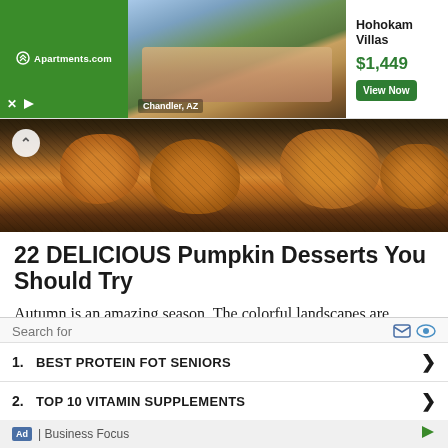[Figure (screenshot): Apartments.com advertisement banner showing Hohokam Villas in Chandler, AZ at $1,449 with View Now button]
[Figure (photo): Close-up photo of pumpkin desserts/donuts with dark background]
22 DELICIOUS Pumpkin Desserts You Should Try
Autumn is an amazing season. The colorful landscapes are beautiful, you can wear your favorite and warm sweaters, walk by the golden leaves and the best is: pumpkin season has
[Figure (screenshot): Search advertisement overlay showing: Search for 1. BEST PROTEIN FOT SENIORS 2. TOP 10 VITAMIN SUPPLEMENTS - Business Focus ad]